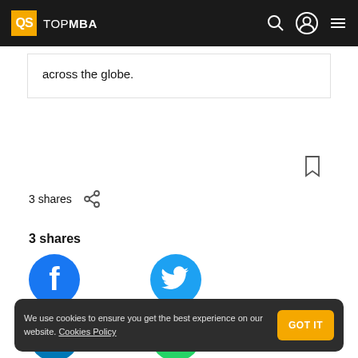QS TOPMBA
across the globe.
3 shares
3 shares
[Figure (logo): Facebook circle icon (dark blue)]
[Figure (logo): Twitter circle icon (cyan)]
[Figure (logo): LinkedIn circle icon (blue), label: LinkedIn]
[Figure (logo): WhatsApp circle icon (green), label: WhatsApp]
We use cookies to ensure you get the best experience on our website. Cookies Policy
GOT IT